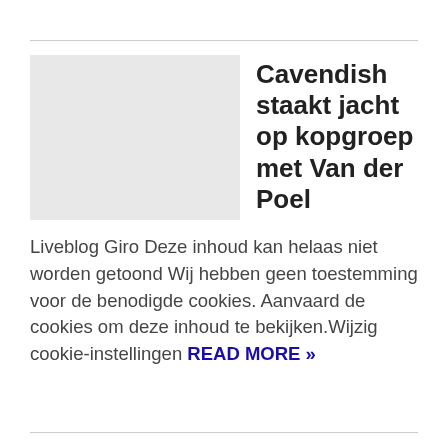[Figure (photo): Gray placeholder image for article thumbnail]
Cavendish staakt jacht op kopgroep met Van der Poel
Liveblog Giro Deze inhoud kan helaas niet worden getoond Wij hebben geen toestemming voor de benodigde cookies. Aanvaard de cookies om deze inhoud te bekijken.Wijzig cookie-instellingen READ MORE »